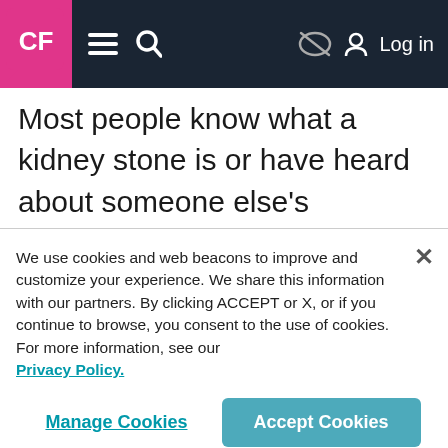CF [logo] | Navigation bar with menu, search, and Log in
Most people know what a kidney stone is or have heard about someone else's experience dealing with them before. Although there are many different types of kidney stones, they are all made up of tiny deposits of minerals and salts in the kidneys. The deposits harden to form a small stone that travels from the
We use cookies and web beacons to improve and customize your experience. We share this information with our partners. By clicking ACCEPT or X, or if you continue to browse, you consent to the use of cookies. For more information, see our Privacy Policy.
Manage Cookies | Accept Cookies